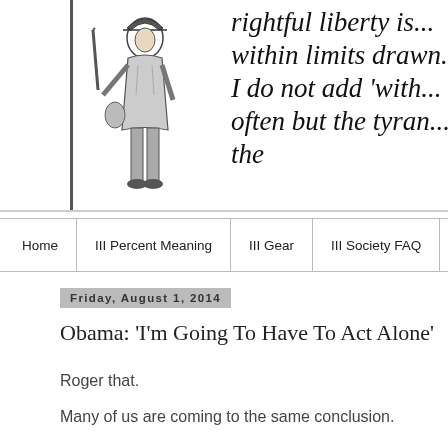[Figure (illustration): A minuteman/colonial soldier illustration on the left side of a banner, with italic serif quote text on the right reading: 'rightful liberty is... within limits drawn... I do not add with... often but the tyran... the']
Home
III Percent Meaning
III Gear
III Society FAQ
Friday, August 1, 2014
Obama: ‘I’m Going To Have To Act Alone’
Roger that.
Many of us are coming to the same conclusion.